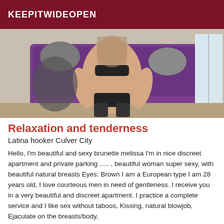KEEPITWIDEOPEN
[Figure (photo): A woman in lingerie and stockings posing on a purple couch in an apartment setting.]
Relaxation and tenderness
Latina hooker Culver City
Hello, I'm beautiful and sexy brunette melissa I'm in nice discreet apartment and private parking ..... , beautiful woman super sexy, with beautiful natural breasts Eyes: Brown I am a European type I am 28 years old, I love courteous men in need of gentleness. I receive you in a very beautiful and discreet apartment. I practice a complete service and I like sex without taboos, Kissing, natural blowjob, Ejaculate on the breasts/body,